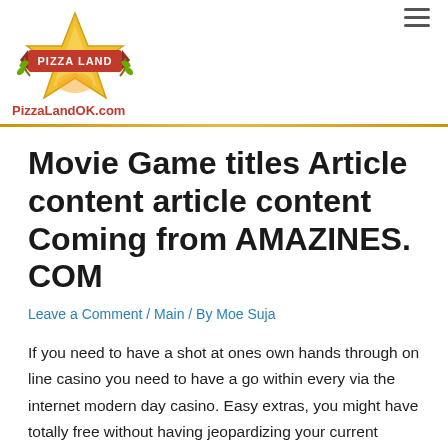[Figure (logo): Pizza Land logo with star shape, red banner, and yellow/orange colors]
PizzaLandOK.com
Movie Game titles Article content article content Coming from AMAZINES. COM
Leave a Comment / Main / By Moe Suja
If you need to have a shot at ones own hands through on line casino you need to have a go within every via the internet modern day casino. Easy extras, you might have totally free without having jeopardizing your current dollars. Numerous effective Danish